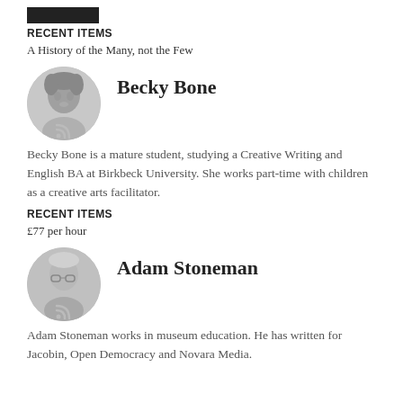[redacted name]
RECENT ITEMS
A History of the Many, not the Few
Becky Bone
Becky Bone is a mature student, studying a Creative Writing and English BA at Birkbeck University. She works part-time with children as a creative arts facilitator.
RECENT ITEMS
£77 per hour
Adam Stoneman
Adam Stoneman works in museum education. He has written for Jacobin, Open Democracy and Novara Media.